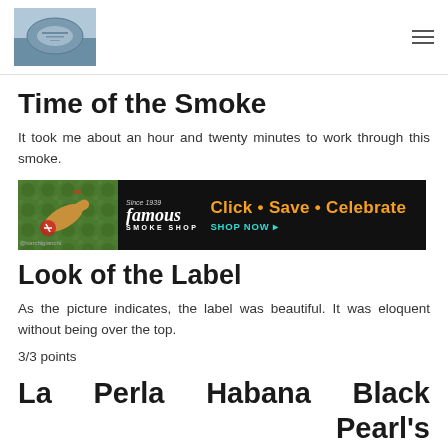[Header with aerial photo and hamburger menu icon]
Time of the Smoke
It took me about an hour and twenty minutes to work through this smoke.
[Figure (illustration): Famous Smoke Shop advertisement banner: black background with cigar image on left, Famous Smoke Shop logo, and 'Click • Save • Celebrate SHOP NOW ▸' call to action in orange and teal text]
Look of the Label
As the picture indicates, the label was beautiful. It was eloquent without being over the top.
3/3 points
La Perla Habana Black Pearl's